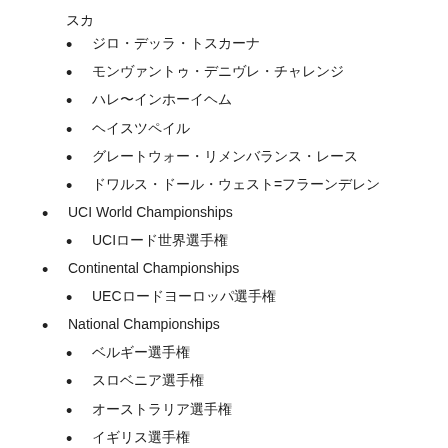スカ
ジロ・デッラ・トスカーナ
モンヴァントゥ・デニヴレ・チャレンジ
ハレ〜インホーイヘム
ヘイスツペイル
グレートウォー・リメンバランス・レース
ドワルス・ドール・ウェスト=フラーンデレン
UCI World Championships
UCIロード世界選手権
Continental Championships
UECロードヨーロッパ選手権
National Championships
ベルギー選手権
スロベニア選手権
オーストラリア選手権
イギリス選手権